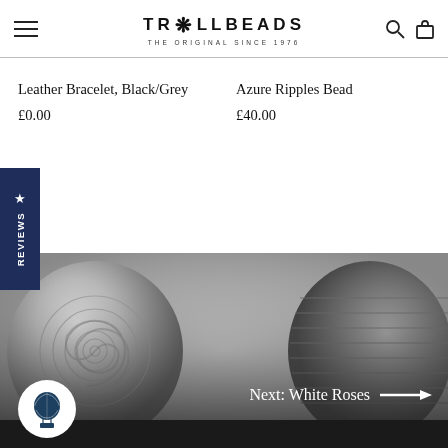TROLLBEADS — THE ORIGINAL SINCE 1976
Leather Bracelet, Black/Grey
£0.00
Azure Ripples Bead
£40.00
★ REVIEWS
[Figure (photo): Close-up black and white photo of a silver bead with rose/floral engraving design]
Next: White Roses →
[Figure (logo): Hot air balloon logo icon in dark teal/navy on white circle background]